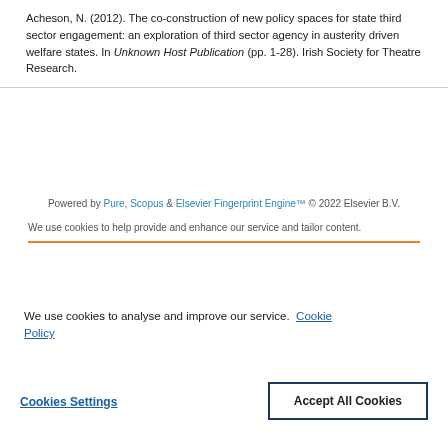Acheson, N. (2012). The co-construction of new policy spaces for state third sector engagement: an exploration of third sector agency in austerity driven welfare states. In Unknown Host Publication (pp. 1-28). Irish Society for Theatre Research.
Powered by Pure, Scopus & Elsevier Fingerprint Engine™ © 2022 Elsevier B.V.
We use cookies to help provide and enhance our service and tailor content.
We use cookies to analyse and improve our service. Cookie Policy
Cookies Settings
Accept All Cookies